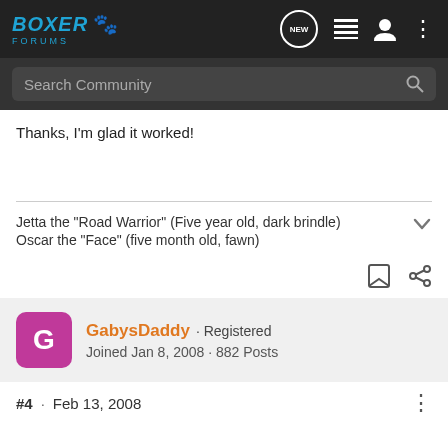Boxer Forums
Thanks, I'm glad it worked!
Jetta the "Road Warrior" (Five year old, dark brindle)
Oscar the "Face"  (five month old, fawn)
GabysDaddy · Registered
Joined Jan 8, 2008 · 882 Posts
#4 · Feb 13, 2008